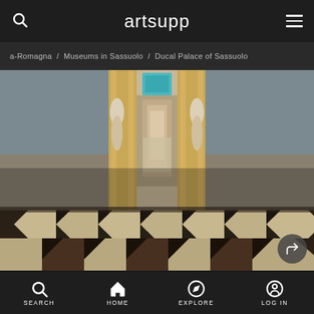artsupp
a-Romagna / Museums in Sassuolo / Ducal Palace of Sassuolo
[Figure (photo): Interior of the Ducal Palace of Sassuolo showing an enfilade of ornate baroque rooms with gilded white stucco decorations, figurative sculptures, elaborate doorways receding into the distance, blue-grey walls, and a decorative geometric marble floor with black, white, and terracotta tiles in the foreground.]
SEARCH  HOME  EXPLORE  LOG IN